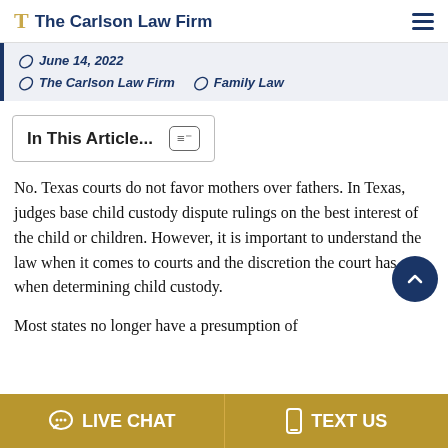The Carlson Law Firm
June 14, 2022  The Carlson Law Firm  Family Law
In This Article...
No. Texas courts do not favor mothers over fathers. In Texas, judges base child custody dispute rulings on the best interest of the child or children. However, it is important to understand the law when it comes to courts and the discretion the court has when determining child custody.
Most states no longer have a presumption of
LIVE CHAT  TEXT US